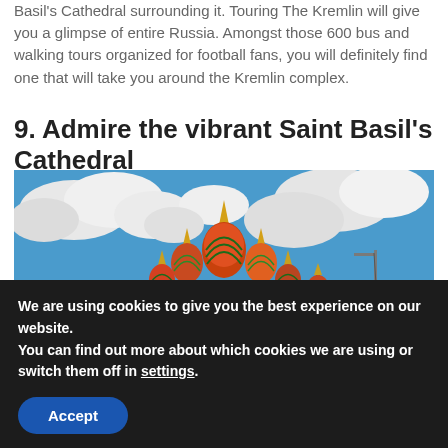Basil's Cathedral surrounding it. Touring The Kremlin will give you a glimpse of entire Russia. Amongst those 600 bus and walking tours organized for football fans, you will definitely find one that will take you around the Kremlin complex.
9. Admire the vibrant Saint Basil's Cathedral
[Figure (photo): Photograph of Saint Basil's Cathedral in Moscow against a blue sky with white clouds. The colorful onion domes are visible in red, green, gold, and white patterns.]
We are using cookies to give you the best experience on our website.
You can find out more about which cookies we are using or switch them off in settings.
Accept